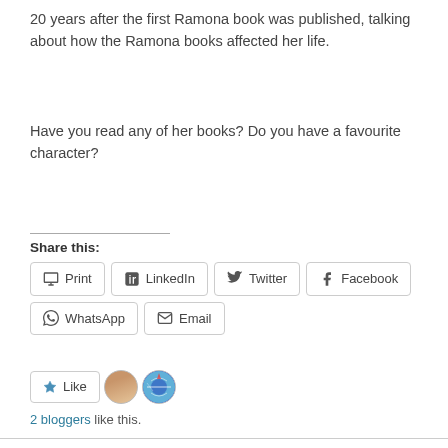20 years after the first Ramona book was published, talking about how the Ramona books affected her life.
Have you read any of her books? Do you have a favourite character?
Share this:
Print
LinkedIn
Twitter
Facebook
WhatsApp
Email
2 bloggers like this.